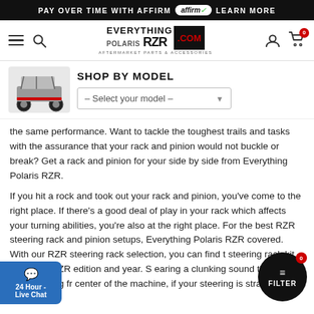PAY OVER TIME WITH AFFIRM  affirm  LEARN MORE
[Figure (logo): Everything Polaris RZR.com logo with hamburger menu, search icon, user icon and cart icon with badge 0]
SHOP BY MODEL
– Select your model –
the same performance. Want to tackle the toughest trails and tasks with the assurance that your rack and pinion would not buckle or break? Get a rack and pinion for your side by side from Everything Polaris RZR.
If you hit a rock and took out your rack and pinion, you've come to the right place. If there's a good deal of play in your rack which affects your turning abilities, you're also at the right place. For the best RZR steering rack and pinion setups, Everything Polaris RZR covered. With our RZR steering rack selection, you can find t steering rack kit to fit your RZR edition and year. S earing a clunking sound that seems to be coming fr center of the machine, if your steering is straight slop, or if you